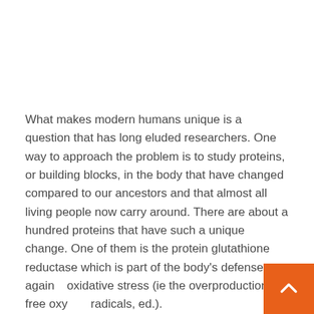What makes modern humans unique is a question that has long eluded researchers. One way to approach the problem is to study proteins, or building blocks, in the body that have changed compared to our ancestors and that almost all living people now carry around. There are about a hundred proteins that have such a unique change. One of them is the protein glutathione reductase which is part of the body's defense against oxidative stress (ie the overproduction of free oxygen radicals, ed.).